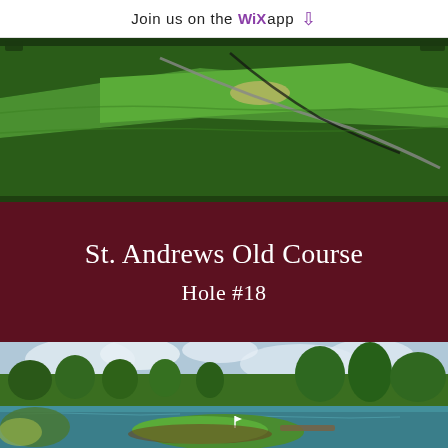Join us on the WiX app ↓
[Figure (photo): Aerial 3D rendering of a golf course fairway with green grass, sand bunkers, and a path, viewed from above]
St. Andrews Old Course
Hole #18
[Figure (photo): 3D rendered golf course scene with island green surrounded by water, trees, and cloudy sky]